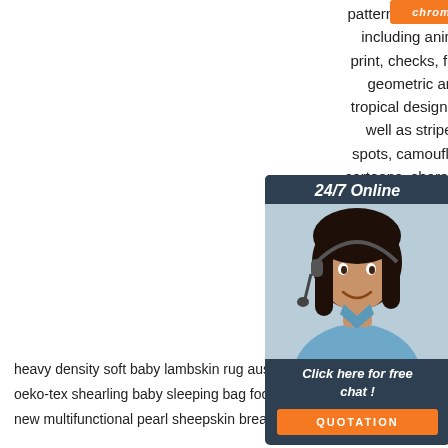patterns imaginable, including animal print, checks, floral, geometric and tropical designs, as well as stripes, spots, camouflage, cartoons, characters, christmas and baby designs
[Figure (infographic): 24/7 Online chat widget with customer service agent photo, 'Click here for free chat!' text, and QUOTATION orange button]
[Figure (infographic): Orange TOP icon with upward arrow and dots]
heavy density soft baby lambskin rug australian eco-tanning
oeko-tex shearling baby sleeping bag footmuff
new multifunctional pearl sheepskin breastfeeding pillow cover